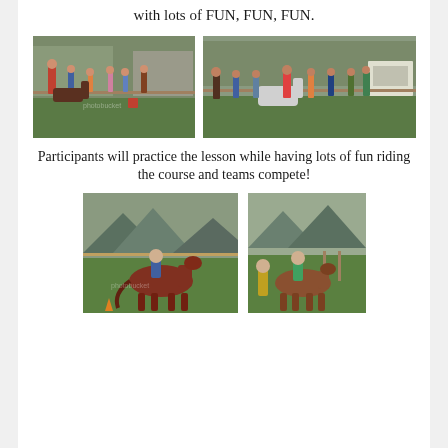with lots of FUN, FUN, FUN.
[Figure (photo): Group of people standing around horses in a grassy outdoor area with fencing and farm buildings in the background.]
[Figure (photo): Larger group of people with horses in an open grassy field with trees and trailers in the background.]
Participants will practice the lesson while having lots of fun riding the course and teams compete!
[Figure (photo): Person riding a brown horse past a cone in a grassy field with mountains in the background.]
[Figure (photo): Person riding a horse with another person walking alongside, in a grassy area with mountains in the background.]